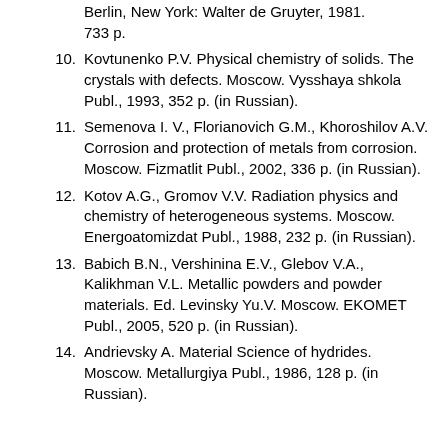(continuation) Berlin, New York: Walter de Gruyter, 1981. 733 p.
10. Kovtunenko P.V. Physical chemistry of solids. The crystals with defects. Moscow. Vysshaya shkola Publ., 1993, 352 p. (in Russian).
11. Semenova I. V., Florianovich G.M., Khoroshilov A.V. Corrosion and protection of metals from corrosion. Moscow. Fizmatlit Publ., 2002, 336 p. (in Russian).
12. Kotov A.G., Gromov V.V. Radiation physics and chemistry of heterogeneous systems. Moscow. Energoatomizdat Publ., 1988, 232 p. (in Russian).
13. Babich B.N., Vershinina E.V., Glebov V.A., Kalikhman V.L. Metallic powders and powder materials. Ed. Levinsky Yu.V. Moscow. EKOMET Publ., 2005, 520 p. (in Russian).
14. Andrievsky A. Material Science of hydrides. Moscow. Metallurgiya Publ., 1986, 128 p. (in Russian).